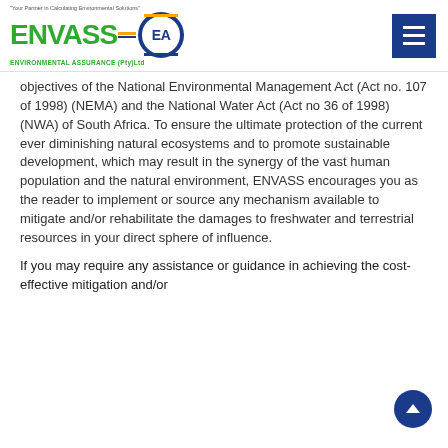ENVASS-EA ENVIRONMENTAL ASSURANCE (Pty)Ltd
objectives of the National Environmental Management Act (Act no. 107 of 1998) (NEMA) and the National Water Act (Act no 36 of 1998) (NWA) of South Africa. To ensure the ultimate protection of the current ever diminishing natural ecosystems and to promote sustainable development, which may result in the synergy of the vast human population and the natural environment, ENVASS encourages you as the reader to implement or source any mechanism available to mitigate and/or rehabilitate the damages to freshwater and terrestrial resources in your direct sphere of influence.
If you may require any assistance or guidance in achieving the cost-effective mitigation and/or